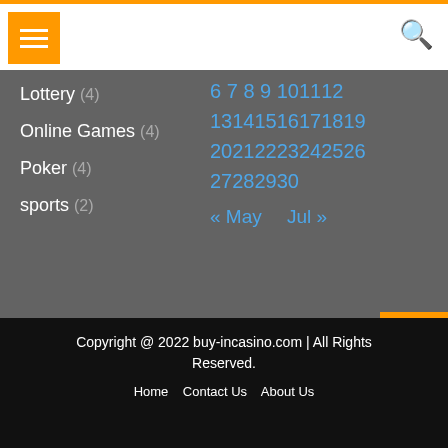Navigation menu header with orange menu button and search icon
Lottery (4)
Online Games (4)
Poker (4)
sports (2)
6 7 8 9 10 11 12 13 14 15 16 17 18 19 20 21 22 23 24 25 26 27 28 29 30
« May   Jul »
Copyright @ 2022 buy-incasino.com | All Rights Reserved.
Home   Contact Us   About Us